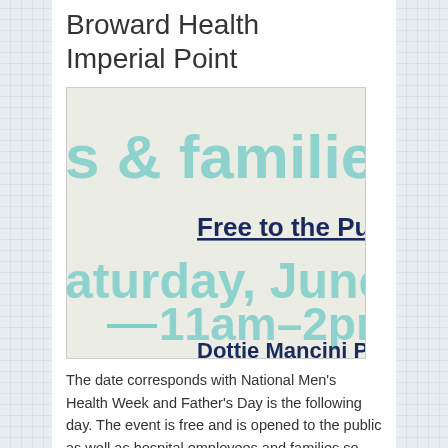Broward Health Imperial Point
[Figure (illustration): Flyer for a health event: text shows 's & families', 'Free to the Pub', 'aturday, June 2', '11am-2pm', 'Dottie Mancini Par' on a light teal/cream background]
The date corresponds with National Men's Health Week and Father's Day is the following day. The event is free and is opened to the public as well as hospital employees and families so make